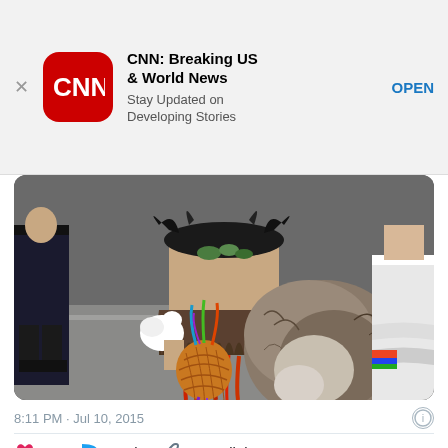[Figure (screenshot): CNN app advertisement banner with CNN logo (red rounded square with white CNN text), app name 'CNN: Breaking US & World News', subtitle 'Stay Updated on Developing Stories', and blue OPEN button link. Close X button on left.]
[Figure (photo): Photo of a person wearing an elaborate tribal/carnival costume with feathers (black, red, white), a grass skirt, holding a decorative pineapple-shaped gourd with colorful feathers. Another person in a white/gray dress visible on the right. Background shows people on a street.]
8:11 PM · Jul 10, 2015
14  Reply  Copy link
Read 1 reply